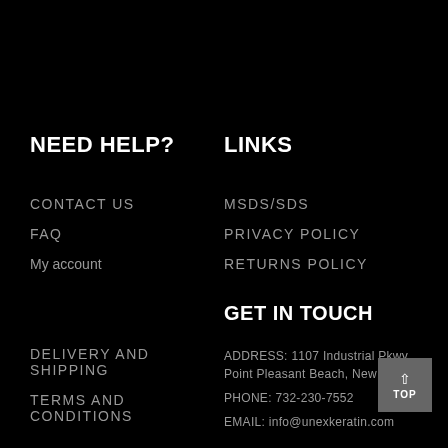NEED HELP?
CONTACT US
FAQ
My account
DELIVERY AND SHIPPING
TERMS AND CONDITIONS
LINKS
MSDS/SDS
PRIVACY POLICY
RETURNS POLICY
GET IN TOUCH
ADDRESS: 1107 Industrial Pkwy, Point Pleasant Beach, New Jersey
PHONE: 732-230-7552
EMAIL: info@unexkeratin.com